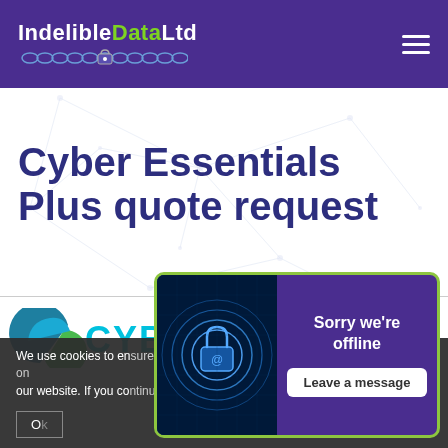Indelible Data Ltd – navigation header with logo and hamburger menu
Cyber Essentials Plus quote request
[Figure (logo): Cyber Essentials logo — teal/green arc shape with 'CYBER' text in cyan]
We use cookies to ensure you get the best experience on our website. If you continue, we'll assume you're happy with this.
[Figure (illustration): Cyber security chat widget showing a padlock icon over circuit board background with 'Sorry we're offline' and 'Leave a message' button]